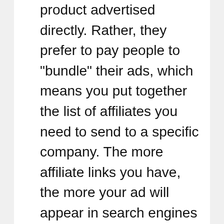product advertised directly. Rather, they prefer to pay people to "bundle" their ads, which means you put together the list of affiliates you need to send to a specific company. The more affiliate links you have, the more your ad will appear in search engines and the more money you'll make. To make money from affiliate programs, however, you need to have a product or service.

Before you begin promoting any affiliate program, you need to think about what you want to get out of it. If you're not sure,